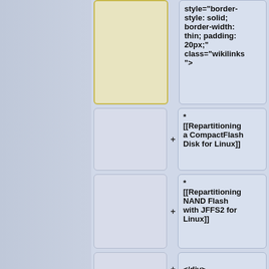style="border-style: solid; border-width: thin; padding: 20px;" class="wikilinks">
* [[Repartitioning a CompactFlash Disk for Linux]]
* [[Repartitioning NAND Flash with JFFS2 for Linux]]
</div>
<div